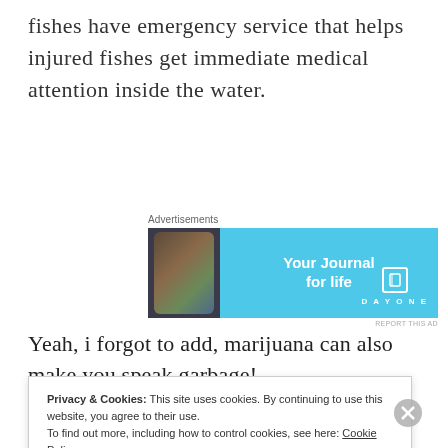fishes have emergency service that helps injured fishes get immediate medical attention inside the water.
[Figure (screenshot): Advertisement banner for DayOne journal app showing a phone and text 'Your Journal for life' on a light blue background]
Yeah, i forgot to add, marijuana can also make you speak garbage!
Privacy & Cookies: This site uses cookies. By continuing to use this website, you agree to their use. To find out more, including how to control cookies, see here: Cookie Policy
Close and accept